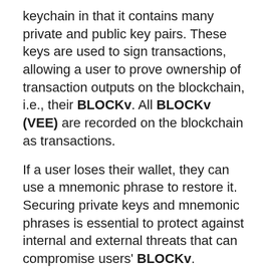keychain in that it contains many private and public key pairs. These keys are used to sign transactions, allowing a user to prove ownership of transaction outputs on the blockchain, i.e., their BLOCKv. All BLOCKv (VEE) are recorded on the blockchain as transactions.
If a user loses their wallet, they can use a mnemonic phrase to restore it. Securing private keys and mnemonic phrases is essential to protect against internal and external threats that can compromise users' BLOCKv.
Course of BLOCKv